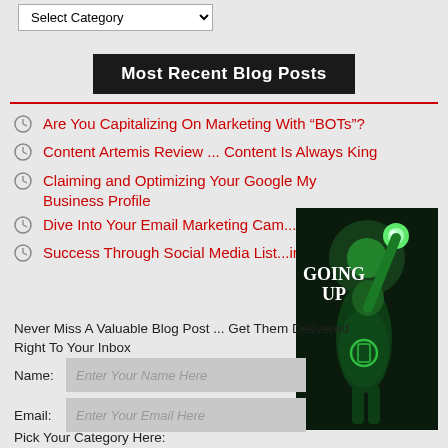Select Category
Most Recent Blog Posts
Are You Capitalizing On Marketing With “BOTs”?
Content Artemis Review ... Content Is Always King
Claiming and Optimizing Your Google My Business Profile
Dive Into Your Email Marketing Cam...
Success Through Social Media List...ing
[Figure (illustration): Green Lantern superhero figure with arm raised, glowing green orb above, with text 'GOING UP' overlaid]
Never Miss A Valuable Blog Post ... Get Them Delivered Right To Your Inbox
Name: [Enter Your Name Here]
Email: [Enter Your Email Here]
Pick Your Category Here: